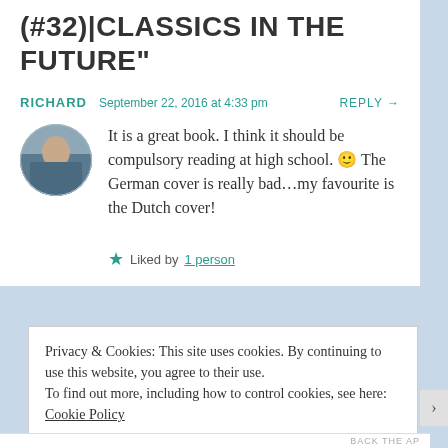(#32)|CLASSICS IN THE FUTURE"
RICHARD   September 22, 2016 at 4:33 pm   REPLY →
It is a great book. I think it should be compulsory reading at high school. 🙂 The German cover is really bad...my favourite is the Dutch cover!
★ Liked by 1 person
Privacy & Cookies: This site uses cookies. By continuing to use this website, you agree to their use.
To find out more, including how to control cookies, see here: Cookie Policy
Close and accept